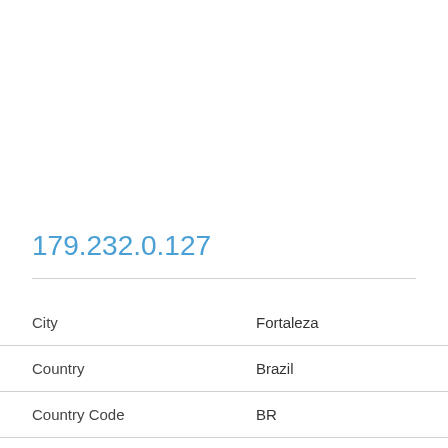179.232.0.127
| City | Fortaleza |
| Country | Brazil |
| Country Code | BR |
| Longitude | -38.5431 |